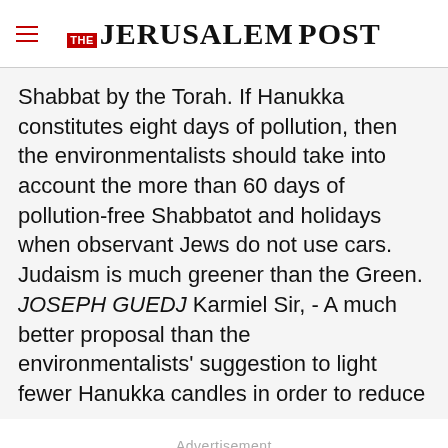THE JERUSALEM POST
Shabbat by the Torah. If Hanukka constitutes eight days of pollution, then the environmentalists should take into account the more than 60 days of pollution-free Shabbatot and holidays when observant Jews do not use cars. Judaism is much greener than the Green. JOSEPH GUEDJ Karmiel Sir, - A much better proposal than the environmentalists' suggestion to light fewer Hanukka candles in order to reduce
Advertisement